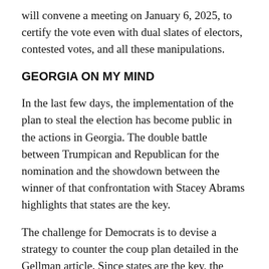will convene a meeting on January 6, 2025, to certify the vote even with dual slates of electors, contested votes, and all these manipulations.
GEORGIA ON MY MIND
In the last few days, the implementation of the plan to steal the election has become public in the actions in Georgia. The double battle between Trumpican and Republican for the nomination and the showdown between the winner of that confrontation with Stacey Abrams highlights that states are the key.
The challenge for Democrats is to devise a strategy to counter the coup plan detailed in the Gellman article. Since states are the key, the countermove is quite straightforward – create more of them in a way that undermines the Trumpican strategy.